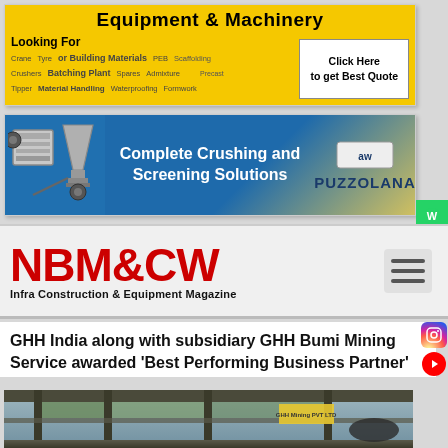[Figure (infographic): Yellow banner advertisement for Equipment & Machinery or Building Materials with 'Click Here to get Best Quote' button and keywords: Crane, Crushers, Batching Plant, Tyres, Spares, Waterproofing, Admixture, Formwork, Precast, Scaffolding, Tipper, Material Handling]
[Figure (infographic): Blue banner advertisement for Puzzolana - Complete Crushing and Screening Solutions with crusher machine image and Puzzolana logo]
[Figure (logo): NBM&CW - Infra Construction & Equipment Magazine logo in red with hamburger menu icon]
GHH India along with subsidiary GHH Bumi Mining Service awarded 'Best Performing Business Partner'
[Figure (photo): Industrial/mining facility interior photograph showing structural steel framework and machinery]